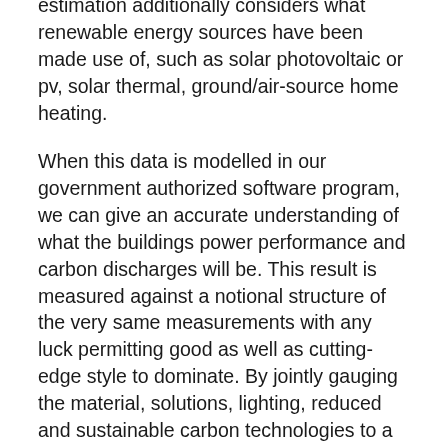estimation additionally considers what renewable energy sources have been made use of, such as solar photovoltaic or pv, solar thermal, ground/air-source home heating.
When this data is modelled in our government authorized software program, we can give an accurate understanding of what the buildings power performance and carbon discharges will be. This result is measured against a notional structure of the very same measurements with any luck permitting good as well as cutting-edge style to dominate. By jointly gauging the material, solutions, lighting, reduced and sustainable carbon technologies to a notional building we can allow for some compensation in between the different aspects.